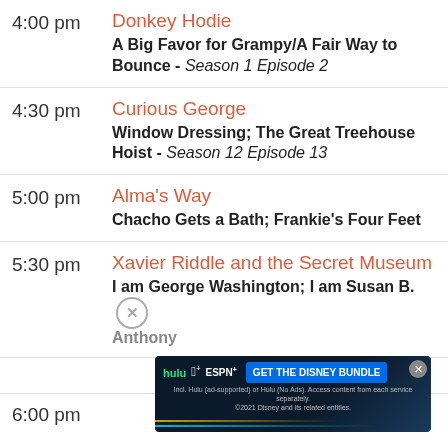4:00 pm — Donkey Hodie — A Big Favor for Grampy/A Fair Way to Bounce - Season 1 Episode 2
4:30 pm — Curious George — Window Dressing; The Great Treehouse Hoist - Season 12 Episode 13
5:00 pm — Alma's Way — Chacho Gets a Bath; Frankie's Four Feet
5:30 pm — Xavier Riddle and the Secret Museum — I am George Washington; I am Susan B. Anthony
[Figure (screenshot): Advertisement banner for Disney Bundle featuring Hulu, Disney+, and ESPN+ logos with a blue 'GET THE DISNEY BUNDLE' button and fine print about ad-supported tiers. Dark blue background with gold and teal diagonal lines.]
6:00 pm — Valentine's Day Disaster; Porcupine Slippers